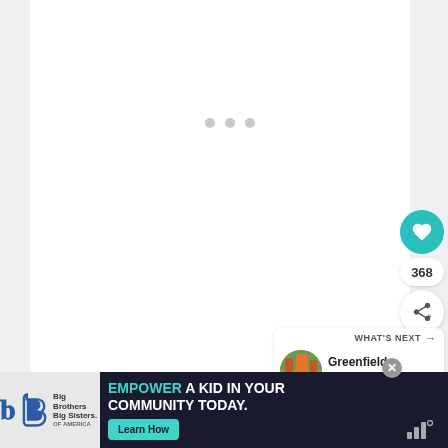[Figure (screenshot): White content area with loading indicator (three small grey dots) in the center, representing a loading webpage or app screen]
[Figure (infographic): Teal heart button (like/favorite), count badge showing 368, and white share button (share icon with plus) — social interaction sidebar]
[Figure (screenshot): What's Next panel showing thumbnail image of a playground and text 'Greenfield School...' with arrow navigation]
[Figure (logo): Tappit app logo — three bars with superscript circle]
[Figure (infographic): Advertisement banner: Big Brothers Big Sisters logo on left, dark background with teal text 'EMPOWER A KID IN YOUR COMMUNITY TODAY.' and green 'Learn How' button, with close X button]